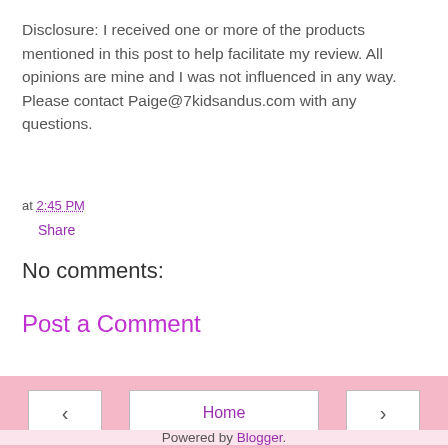Disclosure: I received one or more of the products mentioned in this post to help facilitate my review. All opinions are mine and I was not influenced in any way. Please contact Paige@7kidsandus.com with any questions.
at 2:45 PM
Share
No comments:
Post a Comment
Home | < | > | View web version
Powered by Blogger.